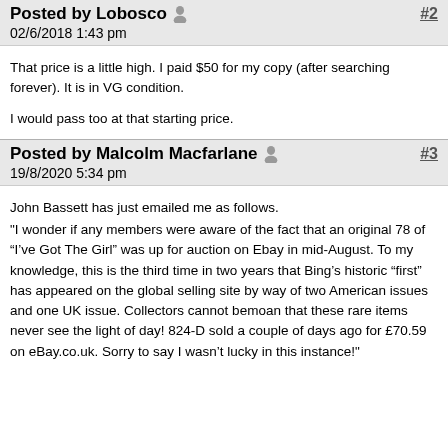Posted by Lobosco  02/6/2018 1:43 pm
That price is a little high. I paid $50 for my copy (after searching forever). It is in VG condition.

I would pass too at that starting price.
Posted by Malcolm Macfarlane  19/8/2020 5:34 pm  #3
John Bassett has just emailed me as follows.
"I wonder if any members were aware of the fact that an original 78 of “I’ve Got The Girl” was up for auction on Ebay in mid-August. To my knowledge, this is the third time in two years that Bing’s historic “first” has appeared on the global selling site by way of two American issues and one UK issue. Collectors cannot bemoan that these rare items never see the light of day! 824-D sold a couple of days ago for £70.59 on eBay.co.uk. Sorry to say I wasn’t lucky in this instance!"